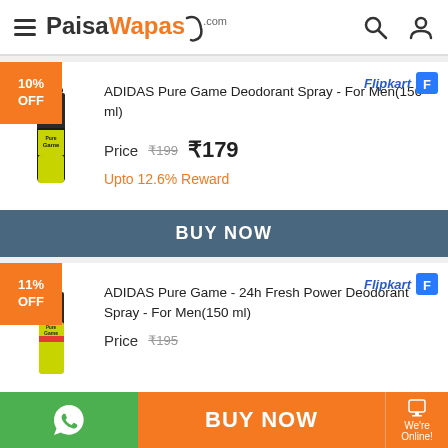PaisaWapas.com
[Figure (screenshot): 10% OFF badge on product card 1]
[Figure (logo): Flipkart logo]
[Figure (photo): ADIDAS Pure Game Deodorant Spray product image]
ADIDAS Pure Game Deodorant Spray - For Men(150 ml)
Price  ₹199  ₹179
Upto 12.6% Reward
BUY NOW
[Figure (screenshot): 11% OFF badge on product card 2]
[Figure (logo): Flipkart logo second card]
[Figure (photo): ADIDAS Pure Game 24h Fresh Power Deodorant Spray product image]
ADIDAS Pure Game - 24h Fresh Power Deodorant Spray - For Men(150 ml)
Price  ₹195
BUY NOW   We're Online!